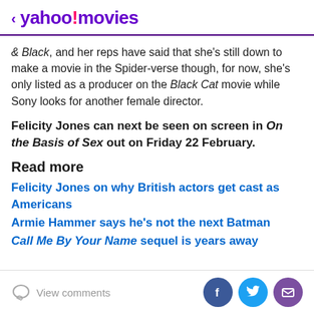yahoo!movies
& Black, and her reps have said that she's still down to make a movie in the Spider-verse though, for now, she's only listed as a producer on the Black Cat movie while Sony looks for another female director.
Felicity Jones can next be seen on screen in On the Basis of Sex out on Friday 22 February.
Read more
Felicity Jones on why British actors get cast as Americans
Armie Hammer says he's not the next Batman
Call Me By Your Name sequel is years away
View comments